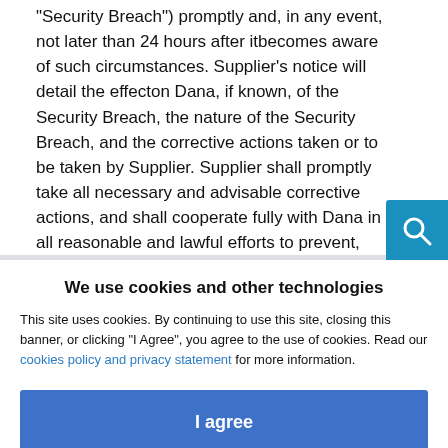“Security Breach”) promptly and, in any event, not later than 24 hours after itbecomes aware of such circumstances. Supplier’s notice will detail the effecton Dana, if known, of the Security Breach, the nature of the Security Breach, and the corrective actions taken or to be taken by Supplier. Supplier shall promptly take all necessary and advisable corrective actions, and shall cooperate fully with Dana in all reasonable and lawful efforts to prevent, mitigate or rectify such Security Breach.
22. Quality
[Figure (other): Cookie consent modal overlay with title 'We use cookies and other technologies', body text about cookies policy, a blue 'I agree' button, and a 'More information' link.]